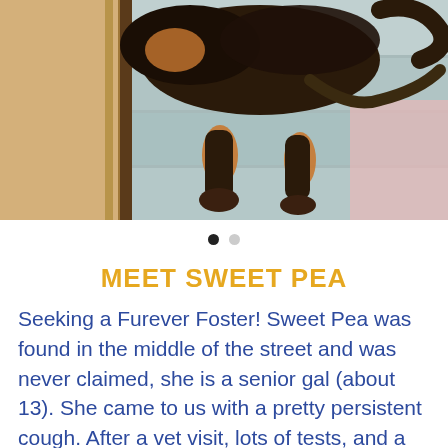[Figure (photo): A small dark-colored dog with brown and black fur, viewed from above, standing on light blue/grey wooden floor planks near a wooden wall or door frame. The dog appears to be a senior small breed dog.]
MEET SWEET PEA
Seeking a Furever Foster! Sweet Pea was found in the middle of the street and was never claimed, she is a senior gal (about 13). She came to us with a pretty persistent cough. After a vet visit, lots of tests, and a pretty hefty vet bill, it was discovered that Sweet Pea has